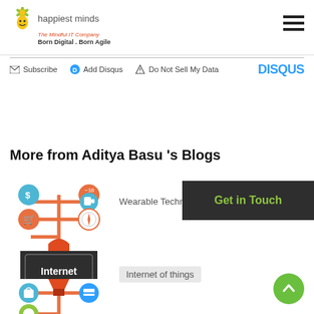happiest minds | The Mindful IT Company | Born Digital . Born Agile
Subscribe | Add Disqus | Do Not Sell My Data | DISQUS
More from Aditya Basu 's Blogs
[Figure (illustration): Wearable technology icons illustration with colorful circles showing dollar, shopping cart, compass/watch, and other wearable device symbols connected by lines]
Wearable Technology Barometer
[Figure (illustration): Internet of Retail Things badge — dark shield/badge shape with text 'Internet of Retail Things' in white]
Internet of things
Get in Touch
[Figure (illustration): IoT retail icons illustration showing items connected by pipes/tubes — funnel, shopping bag, credit card, box, and other retail symbols]